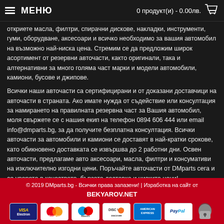МЕНЮ   0 продукт(и) - 0.00лв.
откриете масла, филтри, спирачни дискове, накладки, инструменти, гуми, оборудване, аксесоари и всичко необходимо за вашия автомобил на възможно най-ниска цена. Стремим се да предложим широк асортимент от резервни авточасти, както оригинали, така и алтернативни за много голяма част марки и модели автомобили, камиони, бусове и джипове.
Всички наши авточасти са сертифицирани и от доказани доставчици на авточасти в страната. Ако имате нужда от съдействие или консултация за намирането на правилната резервна част за Вашия автомобил, моля свържете се с нашия екип на телефон 0894 606 444 или email info@dmparts.bg, за да получите безплатна консултация. Всички авточасти за автомобили и камиони се доставят в най-кратки срокове, като обикновено доставката се извършва до 2 работни дни. Освен авточасти, предлагаме авто аксесоари, масла, филтри и консумативи на изключително изгодни цени. Поръчайте авточасти от DMparts сега и се уверете в качеството, бързата доставка и ниските цени!
© 2019 DMparts.bg - Всички права запазени! | Изработка на сайт от BEKYAROV.NET
[Figure (other): Payment method logos: VISA Electron, MasterCard, Maestro, Discover, American Express, PayPal, and a lock/security icon]